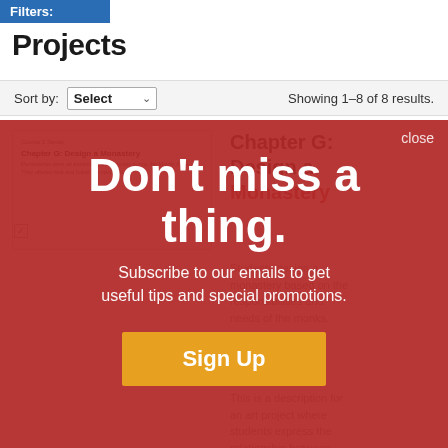Filters:
Projects
Sort by: Select   Showing 1–8 of 8 results.
[Figure (screenshot): Thumbnail of Chapter G: Design a Monastery project page]
Chapter G: Design a Monastery
Students design a monastery based on the responsibilities and needs of the monks.
This is a description for an art project where students express the relationship between
[Figure (screenshot): Email subscription modal overlay with red background. Text: Don't miss a thing. Subscribe to our emails to get useful tips and special promotions. Sign Up button.]